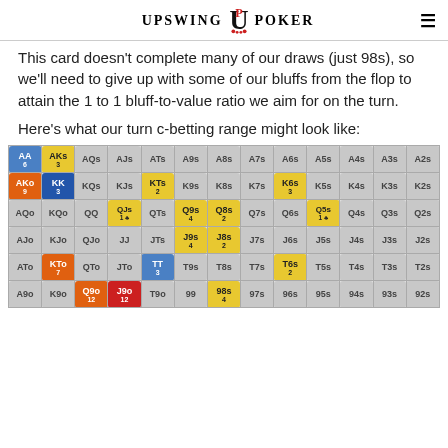UPSWING POKER
This card doesn't complete many of our draws (just 98s), so we'll need to give up with some of our bluffs from the flop to attain the 1 to 1 bluff-to-value ratio we aim for on the turn.
Here's what our turn c-betting range might look like:
[Figure (other): Poker hand range grid showing colored cells for AA(6), AKs(3), KK(3), AKo(9), KTs(2), K6s(3), QJs(1), Q9s(4), Q8s(2), Q5s(1), J9s(4), J8s(2), TT(3), T6s(2), 98s(4), Q9o(12), J9o(12) highlighted in various colors (blue, gold, orange, red) indicating betting ranges on the turn]